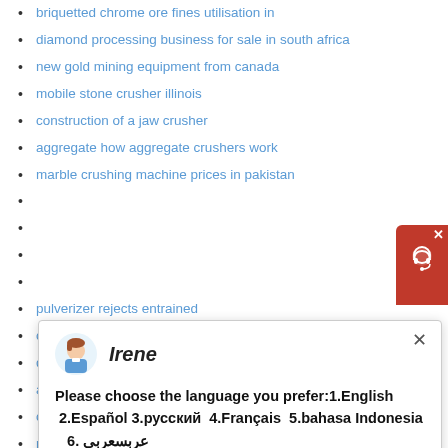briquetted chrome ore fines utilisation in
diamond processing business for sale in south africa
new gold mining equipment from canada
mobile stone crusher illinois
construction of a jaw crusher
aggregate how aggregate crushers work
marble crushing machine prices in pakistan
pulverizer rejects entrained
coal grinding vertical grinding mill machine type
dri iron ore furnace suppliers india
artificial propagation of plants filtering
continuous ball mill manufacturer
mobile rock crusher rental
trituradora de unicel
jaw crusher for sale gympie
ferrite core grinding machine
[Figure (screenshot): Chat popup with avatar of Irene, language selection prompt in English, Español, русский, Français, bahasa Indonesia, عربسعربى, and a close button]
[Figure (illustration): Red support button with headset icon in top right corner, and teal/cyan circle badge with number 1]